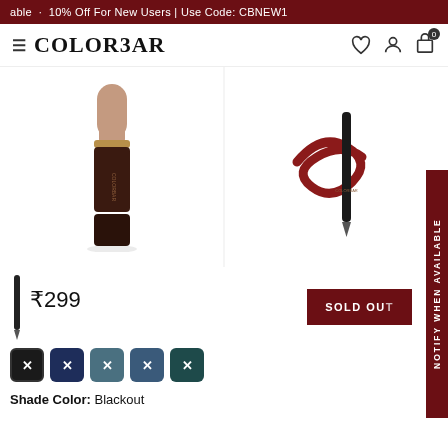able · 10% Off For New Users | Use Code: CBNEW1
[Figure (screenshot): Colorbar brand logo with hamburger menu, heart icon, profile icon, and shopping bag icon with 0 badge]
[Figure (photo): Colorbar lipstick product image showing a nude matte lipstick with gold and dark brown casing]
[Figure (photo): Colorbar lip liner product image showing a black pen with red swirl marks]
₹299
SOLD OUT
[Figure (illustration): Color swatches: black (active/selected), dark navy, teal/slate, blue-grey, dark teal - all with X marks]
Shade Color: Blackout